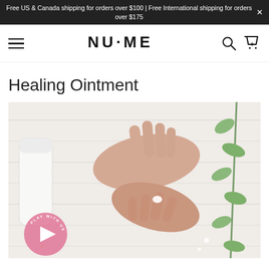Free US & Canada shipping for orders over $100 | Free International shipping for orders over $175
[Figure (logo): NuMe brand logo with hamburger menu, search icon, and cart icon navigation bar]
Healing Ointment
[Figure (photo): Overhead view of hands applying white cream/ointment on white wooden background, with a white tube product and green eucalyptus branch. A pink circular play button overlay reads 'PLAY WITH US'.]